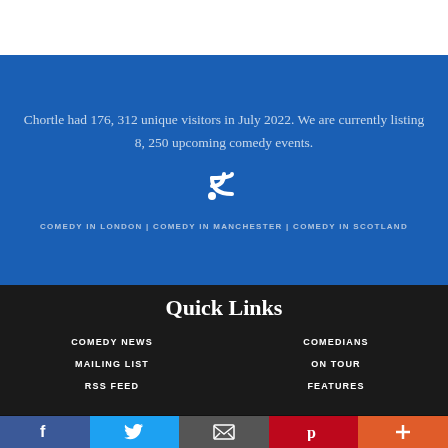Chortle had 176,312 unique visitors in July 2022. We are currently listing 8,250 upcoming comedy events.
[Figure (other): RSS feed icon (white WiFi/RSS symbol on blue background)]
COMEDY IN LONDON | COMEDY IN MANCHESTER | COMEDY IN SCOTLAND
Quick Links
COMEDY NEWS
COMEDIANS
MAILING LIST
ON TOUR
RSS FEED
FEATURES
This web site uses cookies, read our policy.
[Figure (infographic): Social sharing bar with five buttons: Facebook (blue), Twitter (light blue), Email/envelope (grey), Pinterest (red), More/plus (orange-red)]